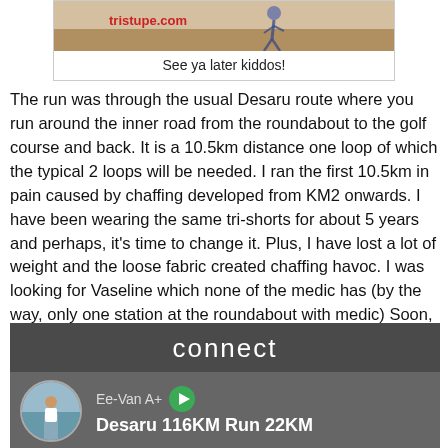[Figure (photo): Photo of a runner on a road, with tristupe.com watermark in red text]
See ya later kiddos!
The run was through the usual Desaru route where you run around the inner road from the roundabout to the golf course and back. It is a 10.5km distance one loop of which the typical 2 loops will be needed. I ran the first 10.5km in pain caused by chaffing developed from KM2 onwards. I have been wearing the same tri-shorts for about 5 years and perhaps, it's time to change it. Plus, I have lost a lot of weight and the loose fabric created chaffing havoc. I was looking for Vaseline which none of the medic has (by the way, only one station at the roundabout with medic) Soon, saviour came in the form of Yusran's friend that set up station by the side of the road. He has Vaseline and the last 11.5km was ran in a decent 1:18.
[Figure (screenshot): Garmin Connect app screenshot showing Ee-Van A+ profile with Desaru 116KM Run 22KM activity and a play button]